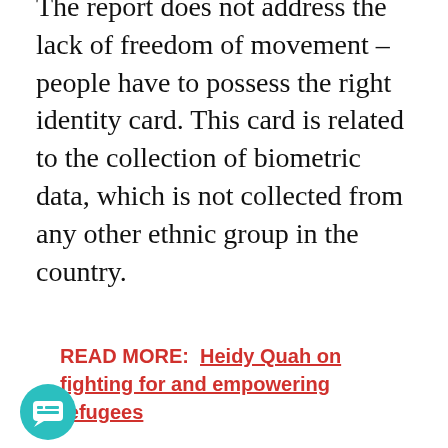The report does not address the lack of freedom of movement – people have to possess the right identity card. This card is related to the collection of biometric data, which is not collected from any other ethnic group in the country.
READ MORE:  Heidy Quah on fighting for and empowering refugees
Rohingyas are justifiably suspicious of this, even if the assessment team does not recognise this in the report. For instance, there is the risk this data can be abused by the government of Myanmar in the future to identify Rohingya who have moved and so transport them back to live